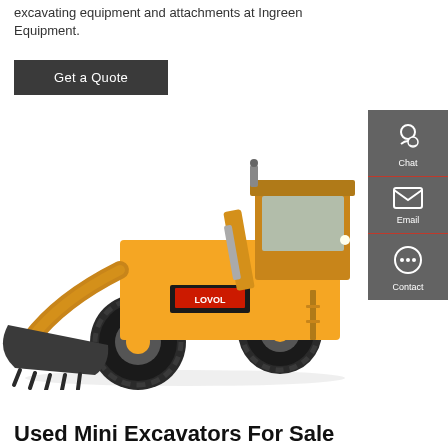excavating equipment and attachments at Ingreen Equipment.
Get a Quote
[Figure (photo): Yellow LOVOL front loader / wheel loader construction machine on white background]
Used Mini Excavators For Sale